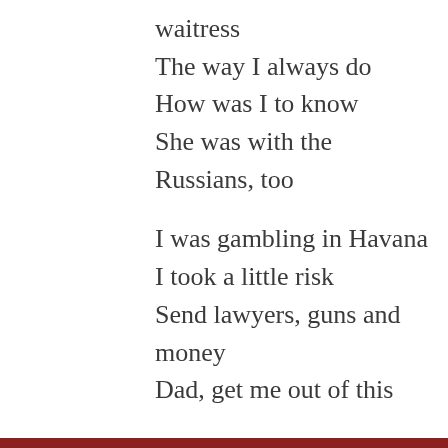waitress
The way I always do
How was I to know
She was with the Russians, too
I was gambling in Havana
I took a little risk
Send lawyers, guns and money
Dad, get me out of this
I’m the innocent bystander
Somehow I got stuck
Between the rock and the hard